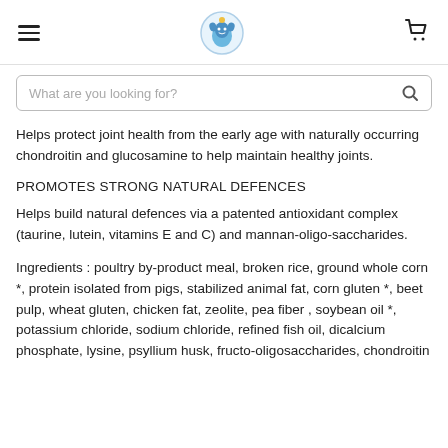Bubble Pets logo, hamburger menu, cart icon
What are you looking for?
Helps protect joint health from the early age with naturally occurring chondroitin and glucosamine to help maintain healthy joints.
PROMOTES STRONG NATURAL DEFENCES
Helps build natural defences via a patented antioxidant complex (taurine, lutein, vitamins E and C) and mannan-oligo-saccharides.
Ingredients : poultry by-product meal, broken rice, ground whole corn *, protein isolated from pigs, stabilized animal fat, corn gluten *, beet pulp, wheat gluten, chicken fat, zeolite, pea fiber , soybean oil *, potassium chloride, sodium chloride, refined fish oil, dicalcium phosphate, lysine, psyllium husk, fructo-oligosaccharides, chondroitin